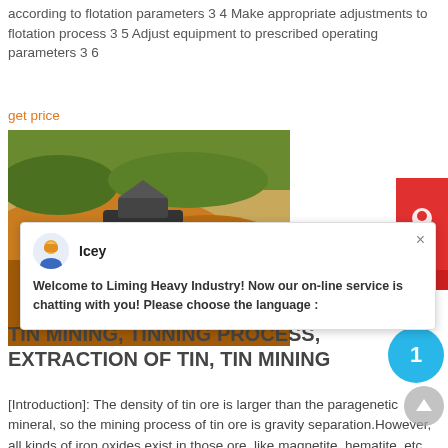according to flotation parameters 3 4 Make appropriate adjustments to flotation process 3 5 Adjust equipment to prescribed operating parameters 3 6
get price
[Figure (photo): Industrial mining equipment (flotation machines) in a mining site with orange/yellow mineral deposits in the background]
[Figure (screenshot): Live chat popup from Liming Heavy Industry showing agent named 'Icey' with message: Welcome to Liming Heavy Industry! Now our on-line service is chatting with you! Please choose the language :]
TIN MINING, TINNING PROCESS, EXTRACTION OF TIN, TIN MINING
[Introduction]: The density of tin ore is larger than the paragenetic mineral, so the mining process of tin ore is gravity separation.However, all kinds of iron oxides exist in those ore, like magnetite, hematite, etc., which cannot be well separated by using gravity or flotation.